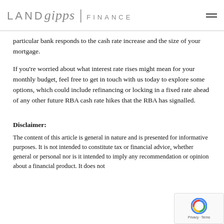[Figure (logo): LANDgipps FINANCE logo with hamburger menu icon]
particular bank responds to the cash rate increase and the size of your mortgage.
If you're worried about what interest rate rises might mean for your monthly budget, feel free to get in touch with us today to explore some options, which could include refinancing or locking in a fixed rate ahead of any other future RBA cash rate hikes that the RBA has signalled.
Disclaimer:
The content of this article is general in nature and is presented for informative purposes. It is not intended to constitute tax or financial advice, whether general or personal nor is it intended to imply any recommendation or opinion about a financial product. It does not